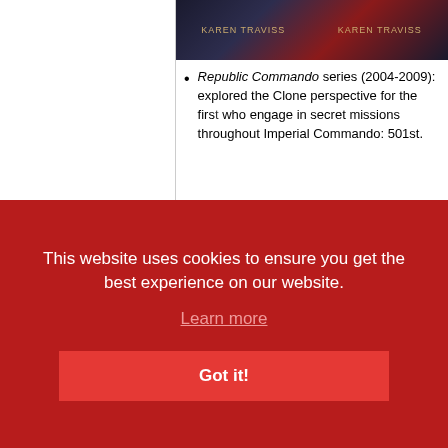[Figure (photo): Book cover images for Star Wars Karen Traviss novels, partially visible at top]
Republic Commando series (2004-2009): explored the Clone perspective for the first time, who engage in secret missions throughout. Imperial Commando: 501st.
Comics
[Figure (photo): Star Wars Republic comic book cover showing orange background with Star Wars logo and REPUBLIC text]
sly one of the ched ahead equel era u rebranded as Dark Times in 2006). Characters popular Clone Commander Alpha were a
This website uses cookies to ensure you get the best experience on our website. Learn more Got it!